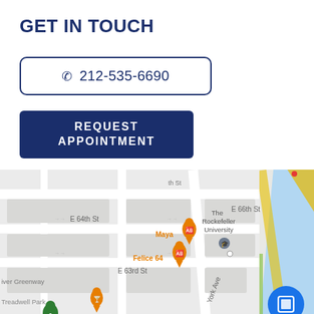GET IN TOUCH
☎ 212-535-6690
REQUEST APPOINTMENT
[Figure (map): Google Maps view showing Upper East Side Manhattan streets including E 63rd St, E 64th St, E 66th St, York Ave, with locations: Maya restaurant, Felice 64 restaurant, The Rockefeller University, River Greenway, Treadwell Park, Equinox East 61st Street. A blue mobile phone FAB button is visible in the bottom right corner.]